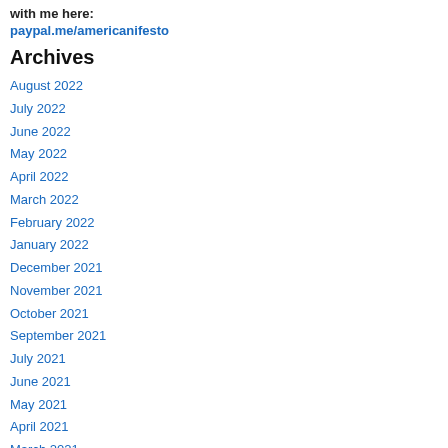with me here:
paypal.me/americanifesto
Archives
August 2022
July 2022
June 2022
May 2022
April 2022
March 2022
February 2022
January 2022
December 2021
November 2021
October 2021
September 2021
July 2021
June 2021
May 2021
April 2021
March 2021